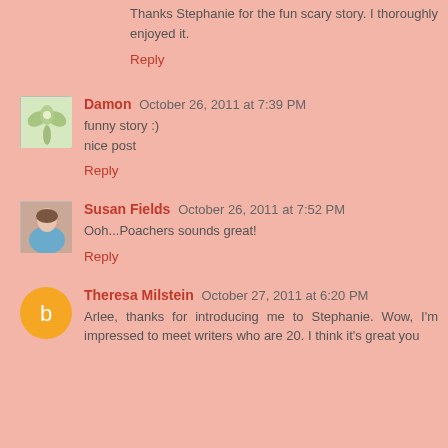Thanks Stephanie for the fun scary story. I thoroughly enjoyed it.
Reply
Damon  October 26, 2011 at 7:39 PM
funny story :)
nice post
Reply
Susan Fields  October 26, 2011 at 7:52 PM
Ooh...Poachers sounds great!
Reply
Theresa Milstein  October 27, 2011 at 6:20 PM
Arlee, thanks for introducing me to Stephanie. Wow, I'm impressed to meet writers who are 20. I think it's great you